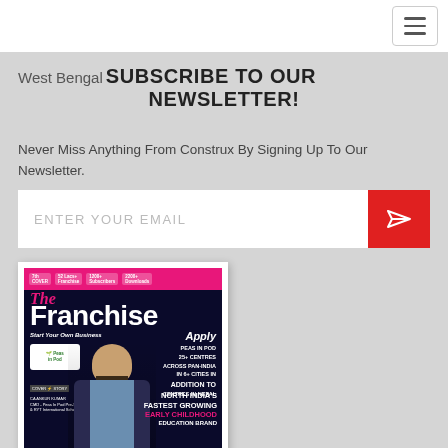Navigation bar with hamburger menu
West Bengal
SUBSCRIBE TO OUR NEWSLETTER!
Never Miss Anything From Construx By Signing Up To Our Newsletter.
ENTER YOUR EMAIL
[Figure (photo): Magazine cover of 'The Franchise' magazine showing a person in a suit, with text about 'Peas in Pod', 'North India's Fastest Growing Early Childhood Education Brand', and other franchise-related content.]